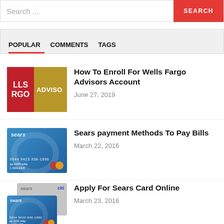[Figure (screenshot): Search bar with placeholder text 'Search...' and red SEARCH button]
POPULAR   COMMENTS   TAGS
[Figure (photo): Wells Fargo Advisors logo thumbnail]
How To Enroll For Wells Fargo Advisors Account
June 27, 2019
[Figure (photo): Sears credit card thumbnail]
Sears payment Methods To Pay Bills
March 22, 2016
[Figure (photo): Sears Citi credit cards thumbnail]
Apply For Sears Card Online
March 23, 2016